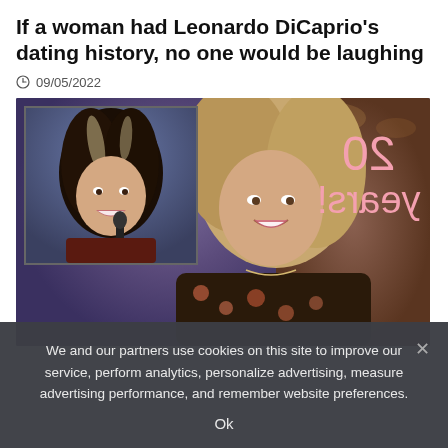If a woman had Leonardo DiCaprio's dating history, no one would be laughing
09/05/2022
[Figure (photo): Split image: inset photo of a young woman with curly highlighted hair holding a microphone, and main image of Kelly Clarkson smiling on a TV show set, with pink handwritten text '20 years!' overlaid in mirror writing]
We and our partners use cookies on this site to improve our service, perform analytics, personalize advertising, measure advertising performance, and remember website preferences.
Ok